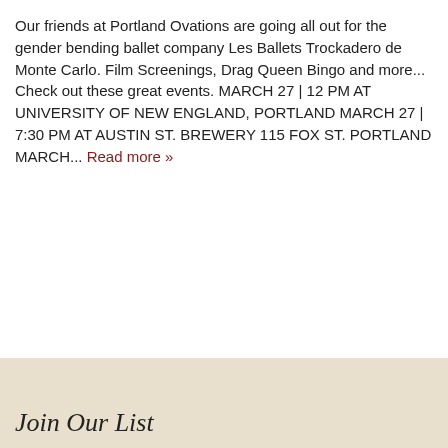Our friends at Portland Ovations are going all out for the gender bending ballet company Les Ballets Trockadero de Monte Carlo. Film Screenings, Drag Queen Bingo and more... Check out these great events. MARCH 27 | 12 PM AT UNIVERSITY OF NEW ENGLAND, PORTLAND MARCH 27 | 7:30 PM AT AUSTIN ST. BREWERY 115 FOX ST. PORTLAND MARCH... Read more »
Join Our List